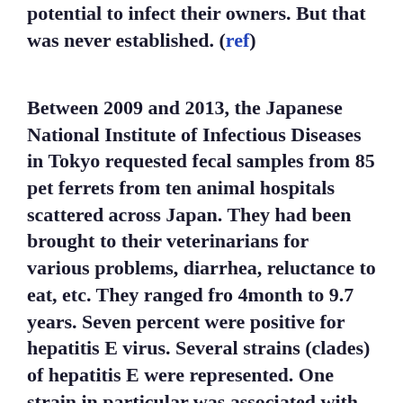potential to infect their owners. But that was never established. (ref)
Between 2009 and 2013, the Japanese National Institute of Infectious Diseases in Tokyo requested fecal samples from 85 pet ferrets from ten animal hospitals scattered across Japan. They had been brought to their veterinarians for various problems, diarrhea, reluctance to eat, etc. They ranged fro 4month to 9.7 years. Seven percent were positive for hepatitis E virus. Several strains (clades) of hepatitis E were represented. One strain in particular was associated with anorexia (not eating) and an enlarged liver. They also noted that those ferrets had higher than normal levels of ALT liver enzyme in their blood – a